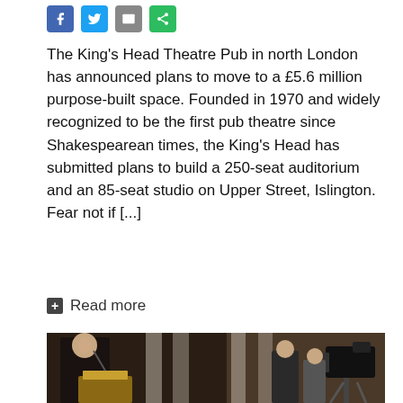[Figure (other): Social media share icons: Facebook (blue), Twitter (blue bird), Email (grey), Share (green)]
The King's Head Theatre Pub in north London has announced plans to move to a £5.6 million purpose-built space. Founded in 1970 and widely recognized to be the first pub theatre since Shakespearean times, the King's Head has submitted plans to build a 250-seat auditorium and an 85-seat studio on Upper Street, Islington. Fear not if [...]
+ Read more
[Figure (photo): A man in a dark suit stands at a podium with a royal crest in an ornate room. Behind him, camera crew and production staff are visible with professional video cameras and equipment.]